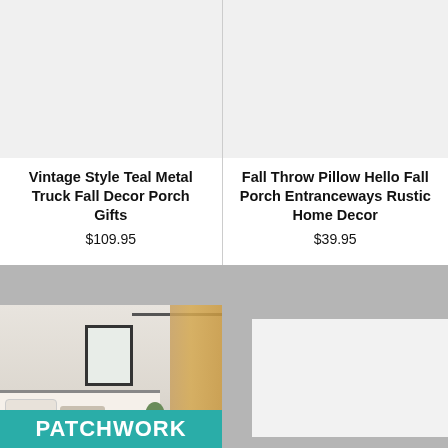[Figure (photo): Product image placeholder for Vintage Style Teal Metal Truck Fall Decor Porch Gifts (light gray background)]
Vintage Style Teal Metal Truck Fall Decor Porch Gifts
$109.95
[Figure (photo): Product image placeholder for Fall Throw Pillow Hello Fall Porch Entranceways Rustic Home Decor (light gray background)]
Fall Throw Pillow Hello Fall Porch Entranceways Rustic Home Decor
$39.95
[Figure (photo): Bedroom interior photo with beige/neutral tones, curtains, headboard, pillows, and plant. Teal banner at bottom reads PATCHWORK.]
[Figure (photo): Product image placeholder (partially visible, light gray/white background)]